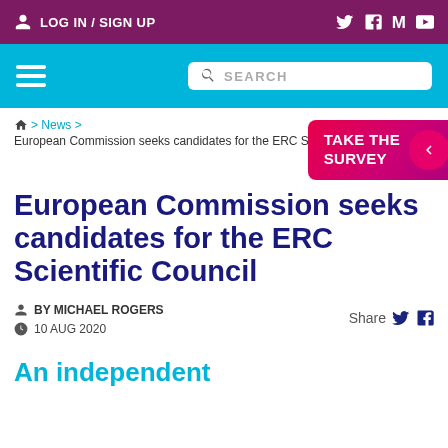LOG IN / SIGN UP
Navigation bar with hamburger menu and search
Home > News > European Commission seeks candidates for the ERC Scientific Council
[Figure (infographic): TAKE THE SURVEY button with pink/red gradient and back arrow circle]
European Commission seeks candidates for the ERC Scientific Council
BY MICHAEL ROGERS
10 AUG 2020
Share
An independent